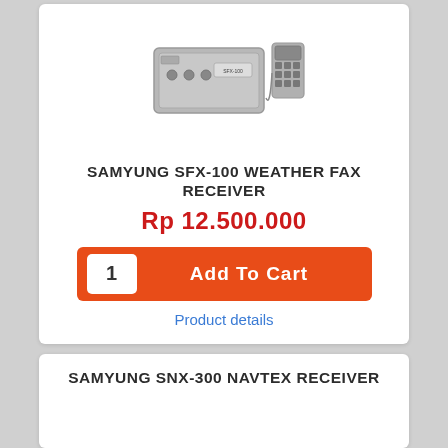[Figure (photo): Product photo of Samyung SFX-100 weather fax receiver device with remote keypad]
SAMYUNG SFX-100 WEATHER FAX RECEIVER
Rp 12.500.000
1  Add To Cart
Product details
SAMYUNG SNX-300 NAVTEX RECEIVER